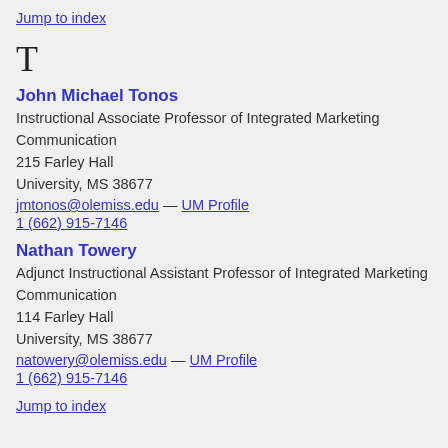Jump to index
T
John Michael Tonos
Instructional Associate Professor of Integrated Marketing Communication
215 Farley Hall
University, MS 38677
jmtonos@olemiss.edu — UM Profile
1 (662) 915-7146
Nathan Towery
Adjunct Instructional Assistant Professor of Integrated Marketing Communication
114 Farley Hall
University, MS 38677
natowery@olemiss.edu — UM Profile
1 (662) 915-7146
Jump to index